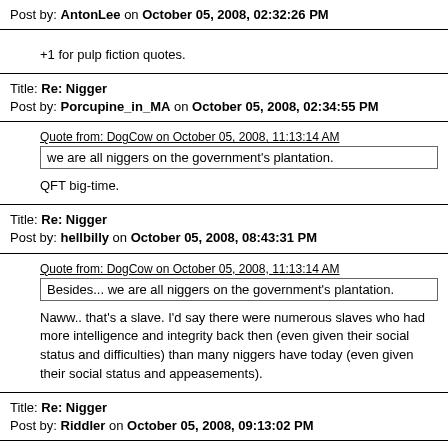Post by: AntonLee on October 05, 2008, 02:32:26 PM
+1 for pulp fiction quotes.
Title: Re: Nigger
Post by: Porcupine_in_MA on October 05, 2008, 02:34:55 PM
Quote from: DogCow on October 05, 2008, 11:13:14 AM
we are all niggers on the government's plantation.
QFT big-time.
Title: Re: Nigger
Post by: hellbilly on October 05, 2008, 08:43:31 PM
Quote from: DogCow on October 05, 2008, 11:13:14 AM
Besides... we are all niggers on the government's plantation.
Naww.. that's a slave. I'd say there were numerous slaves who had more intelligence and integrity back then (even given their social status and difficulties) than many niggers have today (even given their social status and appeasements).
Title: Re: Nigger
Post by: Riddler on October 05, 2008, 09:13:02 PM